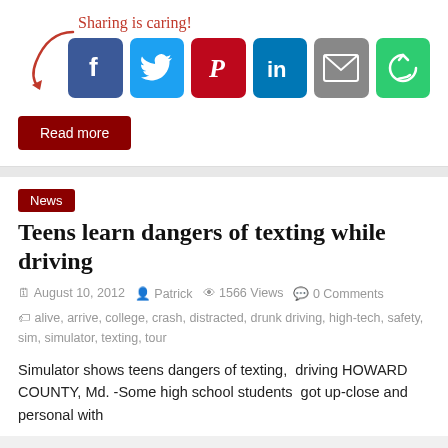[Figure (infographic): Sharing is caring! social sharing buttons: Facebook, Twitter, Pinterest, LinkedIn, Email, and a share icon button]
Read more
News
Teens learn dangers of texting while driving
August 10, 2012   Patrick   1566 Views   0 Comments
alive, arrive, college, crash, distracted, drunk driving, high-tech, safety, sim, simulator, texting, tour
Simulator shows teens dangers of texting,  driving HOWARD COUNTY, Md. -Some high school students  got up-close and personal with